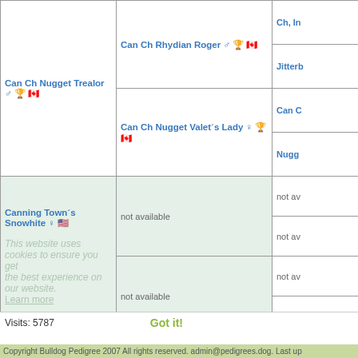| Col1 | Col2 | Col3 |
| --- | --- | --- |
| Can Ch Nugget Trealor ♂ 🏆 🇨🇦 | Can Ch Rhydian Roger ♂ 🏆 🇨🇦 | Ch, In... |
|  |  | Jitterb... |
|  | Can Ch Nugget Valet´s Lady ♀ 🏆 🇨🇦 | Can C... |
|  |  | Nugg... |
| Canning Town´s Snowhite ♀ 🇺🇸 | not available | not av... |
|  |  | not av... |
|  | not available | not av... |
|  |  | not av... |
Visits: 5787
Got it!
Copyright Bulldog Pedigree 2007 All rights reserved. admin@pedigrees.dog. Last up...